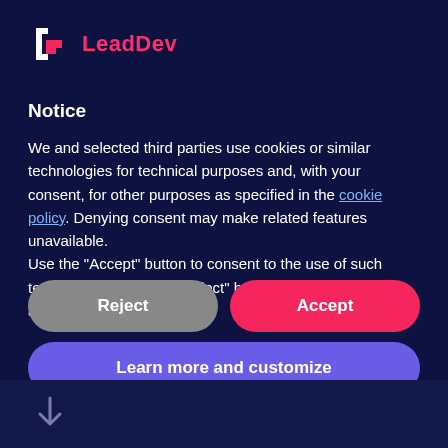[Figure (logo): LeadDev logo with white bracket/L icon and pink 'LeadDev' text]
Notice
We and selected third parties use cookies or similar technologies for technical purposes and, with your consent, for other purposes as specified in the cookie policy. Denying consent may make related features unavailable.
Use the "Accept" button to consent to the use of such technologies. Use the "Reject" button to continue without accepting.
Reject
Accept
Learn more and customize
[Figure (other): Down arrow icon]